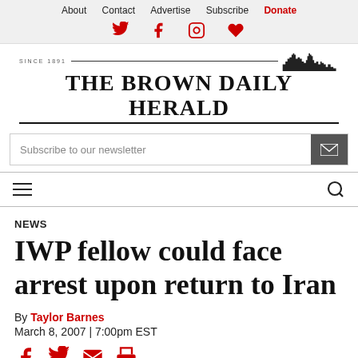About  Contact  Advertise  Subscribe  Donate
[Figure (logo): The Brown Daily Herald newspaper logo with skyline illustration and horizontal rules]
Subscribe to our newsletter
NEWS
IWP fellow could face arrest upon return to Iran
By Taylor Barnes
March 8, 2007 | 7:00pm EST